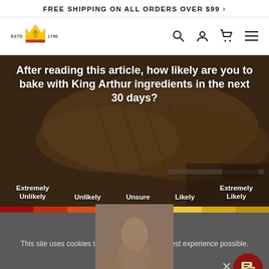FREE SHIPPING ON ALL ORDERS OVER $99 >
[Figure (logo): King Arthur Baking company logo with crown and wheat motif, ESTD 1790]
[Figure (screenshot): Survey section over a bread/baking background image: 'After reading this article, how likely are you to bake with King Arthur ingredients in the next 30 days?' with options: Extremely Unlikely, Unlikely, Unsure, Likely, Extremely Likely. Color bar at bottom.]
This site uses cookies to provide you with the best experience possible.
Read our Privacy Policy